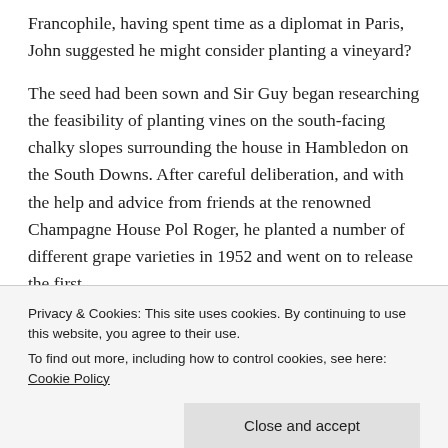Francophile, having spent time as a diplomat in Paris, John suggested he might consider planting a vineyard?
The seed had been sown and Sir Guy began researching the feasibility of planting vines on the south-facing chalky slopes surrounding the house in Hambledon on the South Downs. After careful deliberation, and with the help and advice from friends at the renowned Champagne House Pol Roger, he planted a number of different grape varieties in 1952 and went on to release the first
Privacy & Cookies: This site uses cookies. By continuing to use this website, you agree to their use.
To find out more, including how to control cookies, see here: Cookie Policy
Close and accept
Winemaker Bill Carcary joined the Hambledon team